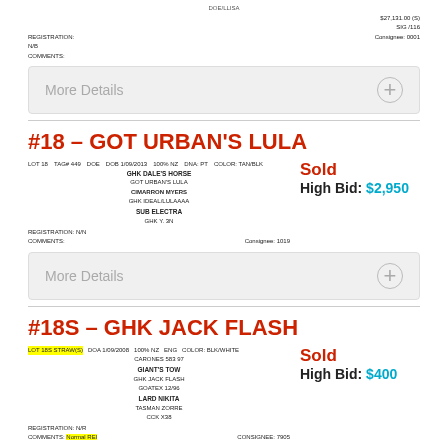Registration: N/B  Comments:  Consignee: 0001
More Details
#18 – GOT URBAN'S LULA
[Figure (other): Lot detail form for GOT URBAN'S LULA]
Sold
High Bid: $2,950
More Details
#18S – GHK JACK FLASH
[Figure (other): Lot detail form for GHK JACK FLASH]
Sold
High Bid: $400
More Details